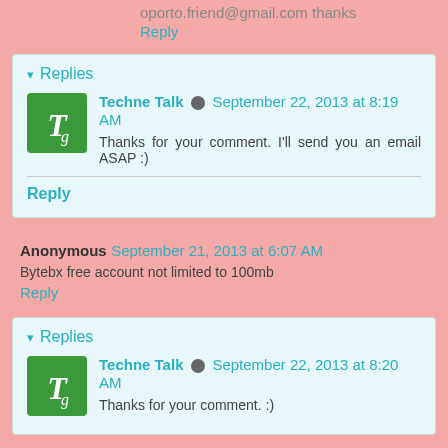oporto.friend@gmail.com thanks
Reply
Replies
Techne Talk  September 22, 2013 at 8:19 AM
Thanks for your comment. I'll send you an email ASAP :)
Reply
Anonymous  September 21, 2013 at 6:07 AM
Bytebx free account not limited to 100mb
Reply
Replies
Techne Talk  September 22, 2013 at 8:20 AM
Thanks for your comment. :)